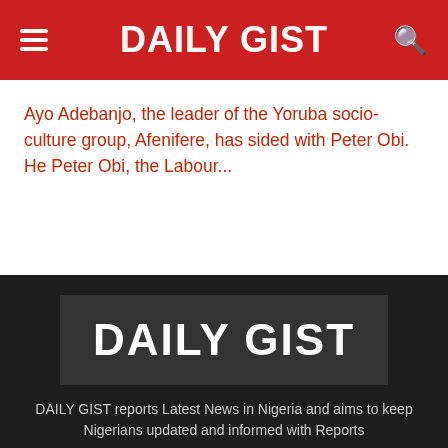DAILY GIST
Ayo Adebanjo, the leader of the Yoruba socio-culture group, Afenifere, has sided with Peter Obi. He Peter Obi, the Labour...
[Figure (logo): DAILY GIST logo in white bold text on dark grey rectangle background]
DAILY GIST reports Latest News in Nigeria and aims to keep Nigerians updated and informed with Reports